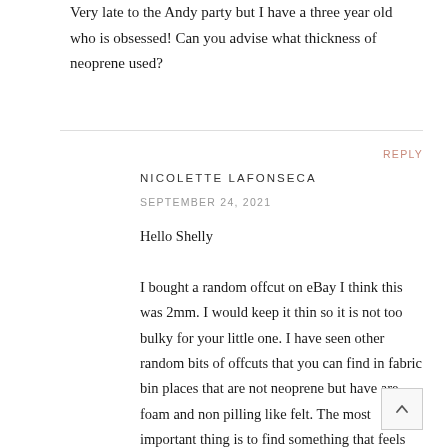Very late to the Andy party but I have a three year old who is obsessed! Can you advise what thickness of neoprene used?
REPLY
NICOLETTE LAFONSECA
SEPTEMBER 24, 2021
Hello Shelly

I bought a random offcut on eBay I think this was 2mm. I would keep it thin so it is not too bulky for your little one. I have seen other random bits of offcuts that you can find in fabric bin places that are not neoprene but have are foam and non pilling like felt. The most important thing is to find something that feels smooth and soft so that it does not irritate skin, has a little body too it and does not frey x